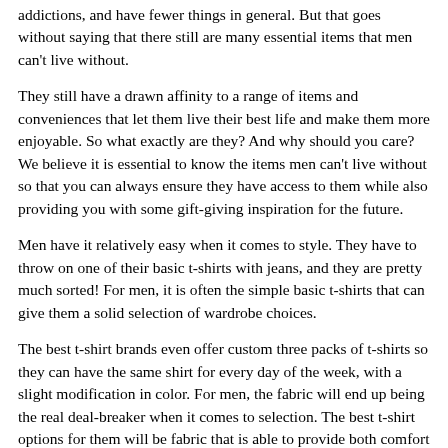addictions, and have fewer things in general. But that goes without saying that there still are many essential items that men can't live without.
They still have a drawn affinity to a range of items and conveniences that let them live their best life and make them more enjoyable. So what exactly are they? And why should you care? We believe it is essential to know the items men can't live without so that you can always ensure they have access to them while also providing you with some gift-giving inspiration for the future.
Men have it relatively easy when it comes to style. They have to throw on one of their basic t-shirts with jeans, and they are pretty much sorted! For men, it is often the simple basic t-shirts that can give them a solid selection of wardrobe choices.
The best t-shirt brands even offer custom three packs of t-shirts so they can have the same shirt for every day of the week, with a slight modification in color. For men, the fabric will end up being the real deal-breaker when it comes to selection. The best t-shirt options for them will be fabric that is able to provide both comfort and functionality—and are made to be breathable. Plus, they are already pre-shrunk, so there is no risk of ruining them when they get tossed in the laundry.
They can also...